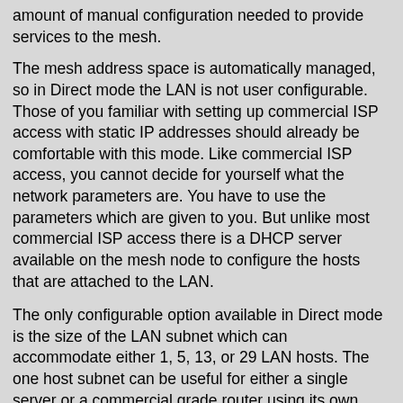amount of manual configuration needed to provide services to the mesh.
The mesh address space is automatically managed, so in Direct mode the LAN is not user configurable. Those of you familiar with setting up commercial ISP access with static IP addresses should already be comfortable with this mode. Like commercial ISP access, you cannot decide for yourself what the network parameters are. You have to use the parameters which are given to you. But unlike most commercial ISP access there is a DHCP server available on the mesh node to configure the hosts that are attached to the LAN.
The only configurable option available in Direct mode is the size of the LAN subnet which can accommodate either 1, 5, 13, or 29 LAN hosts. The one host subnet can be useful for either a single server or a commercial grade router using its own NAT which is capable of more advanced routing functions than those available from a mesh node.
It is important to not use a subnet larger than is necessary because the chances of an IP address conflict on the mesh increase with the size of the subnet. The LAN subnet parameters are automatically generated and depend on the IP address of the Mesh RF interface. If a conflict does occur